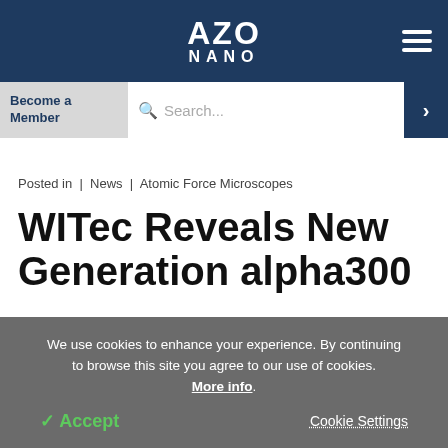AZO NANO
Become a Member
Search...
Posted in | News | Atomic Force Microscopes
WITec Reveals New Generation alpha300
We use cookies to enhance your experience. By continuing to browse this site you agree to our use of cookies. More info.
✓ Accept
Cookie Settings